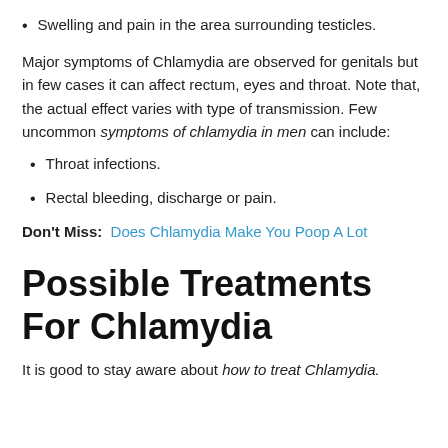Swelling and pain in the area surrounding testicles.
Major symptoms of Chlamydia are observed for genitals but in few cases it can affect rectum, eyes and throat. Note that, the actual effect varies with type of transmission. Few uncommon symptoms of chlamydia in men can include:
Throat infections.
Rectal bleeding, discharge or pain.
Don't Miss: Does Chlamydia Make You Poop A Lot
Possible Treatments For Chlamydia
It is good to stay aware about how to treat Chlamydia.